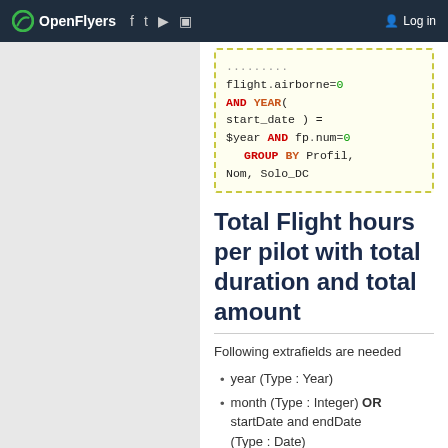OpenFlyers | Log in
flight.airborne=0 AND YEAR( start_date ) = $year AND fp.num=0 GROUP BY Profil, Nom, Solo_DC
Total Flight hours per pilot with total duration and total amount
Following extrafields are needed
year (Type : Year)
month (Type : Integer) OR startDate and endDate (Type : Date)